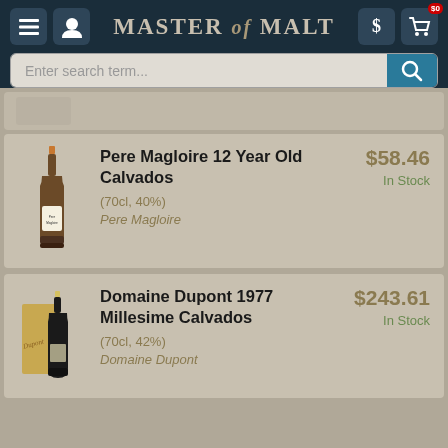[Figure (screenshot): Master of Malt website header with navigation icons, logo, and search bar]
[Figure (photo): Partial product card clipped at top]
Pere Magloire 12 Year Old Calvados
(70cl, 40%)
Pere Magloire
$58.46
In Stock
Domaine Dupont 1977 Millesime Calvados
(70cl, 42%)
Domaine Dupont
$243.61
In Stock